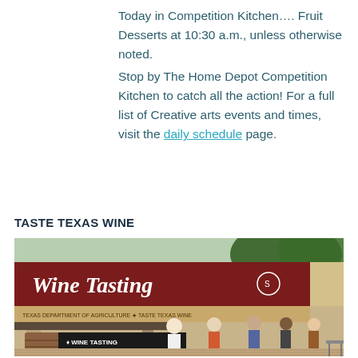Today in Competition Kitchen…. Fruit Desserts at 10:30 a.m., unless otherwise noted. Stop by The Home Depot Competition Kitchen to catch all the action! For a full list of Creative arts events and times, visit the daily schedule page.
TASTE TEXAS WINE
[Figure (photo): Outdoor wine tasting booth with a large dark red banner reading 'Wine Tasting' with a state seal logo. People are standing in line at the booth. Trees and brick walkway visible.]